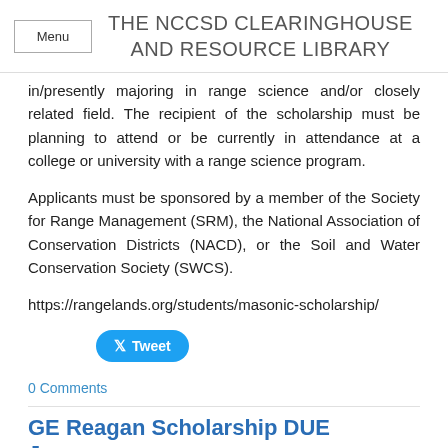THE NCCSD CLEARINGHOUSE AND RESOURCE LIBRARY
in/presently majoring in range science and/or closely related field. The recipient of the scholarship must be planning to attend or be currently in attendance at a college or university with a range science program.
Applicants must be sponsored by a member of the Society for Range Management (SRM), the National Association of Conservation Districts (NACD), or the Soil and Water Conservation Society (SWCS).
https://rangelands.org/students/masonic-scholarship/
[Figure (other): Twitter Tweet button]
0 Comments
GE Reagan Scholarship DUE January